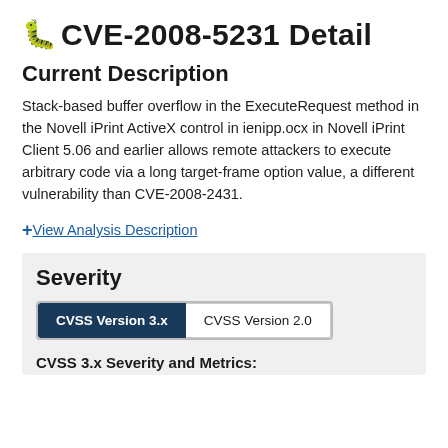CVE-2008-5231 Detail
Current Description
Stack-based buffer overflow in the ExecuteRequest method in the Novell iPrint ActiveX control in ienipp.ocx in Novell iPrint Client 5.06 and earlier allows remote attackers to execute arbitrary code via a long target-frame option value, a different vulnerability than CVE-2008-2431.
+ View Analysis Description
Severity
CVSS Version 3.x | CVSS Version 2.0
CVSS 3.x Severity and Metrics: